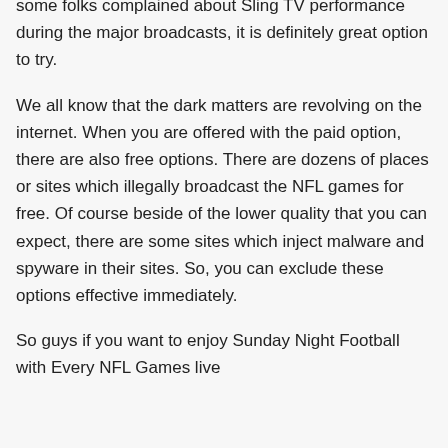some folks complained about Sling TV performance during the major broadcasts, it is definitely great option to try.
We all know that the dark matters are revolving on the internet. When you are offered with the paid option, there are also free options. There are dozens of places or sites which illegally broadcast the NFL games for free. Of course beside of the lower quality that you can expect, there are some sites which inject malware and spyware in their sites. So, you can exclude these options effective immediately.
So guys if you want to enjoy Sunday Night Football with Every NFL Games live